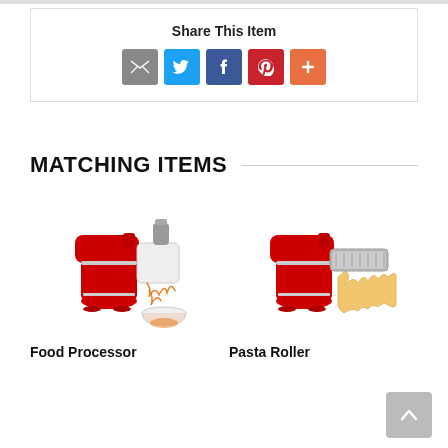Share This Item
[Figure (infographic): Row of social share icon buttons: email (grey envelope), Twitter (blue bird), Facebook (blue f), Pinterest (red P), More (orange plus)]
MATCHING ITEMS
[Figure (photo): Red KitchenAid stand mixer with food processor attachment shredding carrots into a bowl]
Food Processor
[Figure (photo): Red KitchenAid stand mixer with pasta roller attachment rolling out a sheet of pasta dough]
Pasta Roller